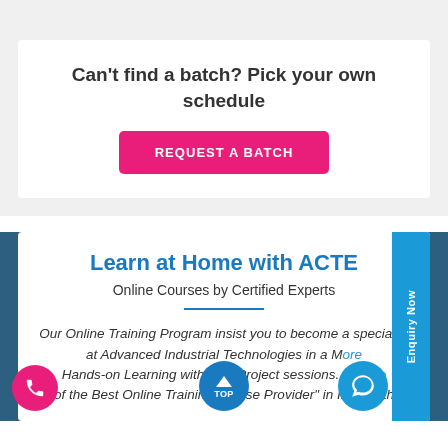Can't find a batch? Pick your own schedule
REQUEST A BATCH
Learn at Home with ACTE
Online Courses by Certified Experts
Our Online Training Program insist you to become a specialist at Advanced Industrial Technologies in a More Hands-on Learning with Live Project sessions. We are one of the Best Online Training Course Provider" in India with